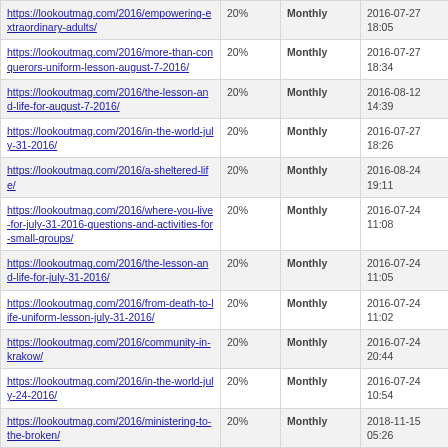| https://lookoutmag.com/2016/empowering-extraordinary-adults/ | 20% | Monthly | 2016-07-27 18:05 |
| https://lookoutmag.com/2016/more-than-conquerors-uniform-lesson-august-7-2016/ | 20% | Monthly | 2016-07-27 18:34 |
| https://lookoutmag.com/2016/the-lesson-and-life-for-august-7-2016/ | 20% | Monthly | 2016-08-12 14:39 |
| https://lookoutmag.com/2016/in-the-world-july-31-2016/ | 20% | Monthly | 2016-07-27 18:26 |
| https://lookoutmag.com/2016/a-sheltered-life/ | 20% | Monthly | 2016-08-24 19:11 |
| https://lookoutmag.com/2016/where-you-live-for-july-31-2016-questions-and-activities-for-small-groups/ | 20% | Monthly | 2016-07-24 11:08 |
| https://lookoutmag.com/2016/the-lesson-and-life-for-july-31-2016/ | 20% | Monthly | 2016-07-24 11:05 |
| https://lookoutmag.com/2016/from-death-to-life-uniform-lesson-july-31-2016/ | 20% | Monthly | 2016-07-24 11:02 |
| https://lookoutmag.com/2016/community-in-krakow/ | 20% | Monthly | 2016-07-24 20:44 |
| https://lookoutmag.com/2016/in-the-world-july-24-2016/ | 20% | Monthly | 2016-07-24 10:54 |
| https://lookoutmag.com/2016/ministering-to-the-broken/ | 20% | Monthly | 2018-11-15 05:26 |
| https://lookoutmag.com/2016/who-believes-in-heaven/ | 20% | Monthly | 2016-08-24 19:12 |